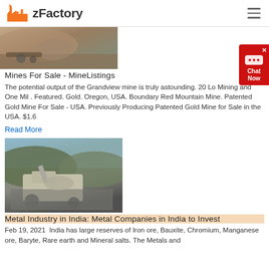zFactory
[Figure (photo): Mining site with heavy machinery and earth moving equipment, rocky terrain visible]
Mines For Sale - MineListings
The potential output of the Grandview mine is truly astounding. 20 Lo Mining and One Mil . Featured. Gold. Oregon, USA. Boundary Red Mountain Mine. Patented Gold Mine For Sale - USA. Previously Producing Patented Gold Mine for Sale in the USA. $1.6
Read More
[Figure (photo): Industrial mining crusher machine at a quarry site with rocky rubble and hills in background]
Metal Industry in India: Metal Companies in India to Invest
Feb 19, 2021  India has large reserves of Iron ore, Bauxite, Chromium, Manganese ore, Baryte, Rare earth and Mineral salts. The Metals and